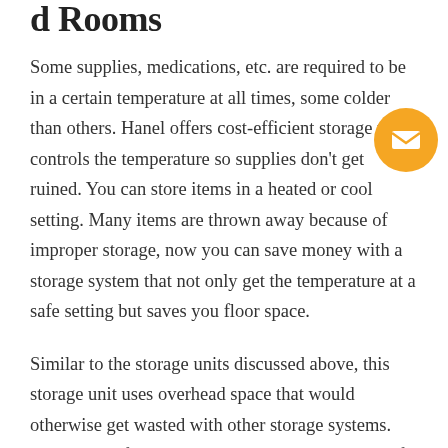d Rooms
Some supplies, medications, etc. are required to be in a certain temperature at all times, some colder than others. Hanel offers cost-efficient storage that controls the temperature so supplies don't get ruined. You can store items in a heated or cool setting. Many items are thrown away because of improper storage, now you can save money with a storage system that not only get the temperature at a safe setting but saves you floor space.
Similar to the storage units discussed above, this storage unit uses overhead space that would otherwise get wasted with other storage systems. The Lean-Lift stores products vertically and the lift automatically brings you any item you access